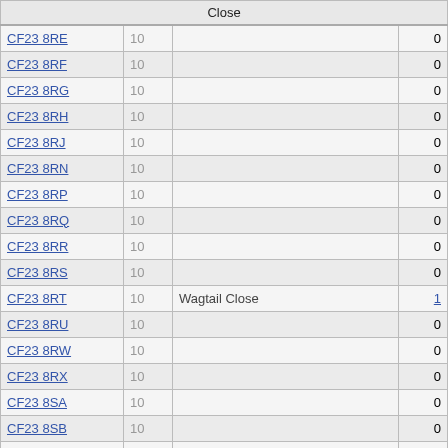|  |  | Close |  |
| --- | --- | --- | --- |
| CF23 8RE | 10 |  | 0 |
| CF23 8RF | 10 |  | 0 |
| CF23 8RG | 10 |  | 0 |
| CF23 8RH | 10 |  | 0 |
| CF23 8RJ | 10 |  | 0 |
| CF23 8RN | 10 |  | 0 |
| CF23 8RP | 10 |  | 0 |
| CF23 8RQ | 10 |  | 0 |
| CF23 8RR | 10 |  | 0 |
| CF23 8RS | 10 |  | 0 |
| CF23 8RT | 10 | Wagtail Close | 1 |
| CF23 8RU | 10 |  | 0 |
| CF23 8RW | 10 |  | 0 |
| CF23 8RX | 10 |  | 0 |
| CF23 8SA | 10 |  | 0 |
| CF23 8SB | 10 |  | 0 |
| CF23 8SD | 10 |  | 0 |